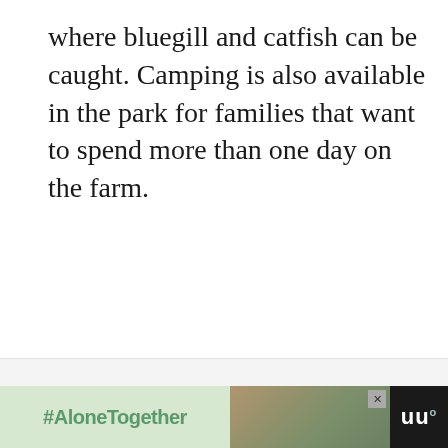where bluegill and catfish can be caught. Camping is also available in the park for families that want to spend more than one day on the farm.
[Figure (infographic): Advertisement banner at the bottom of the page. Left portion has a light green background with '#AloneTogether' hashtag text in green. Center shows a photo of a man and child waving. Right shows a dark background with a stylized 'W' logo with a degree symbol superscript. An 'X' close button is visible on the photo.]